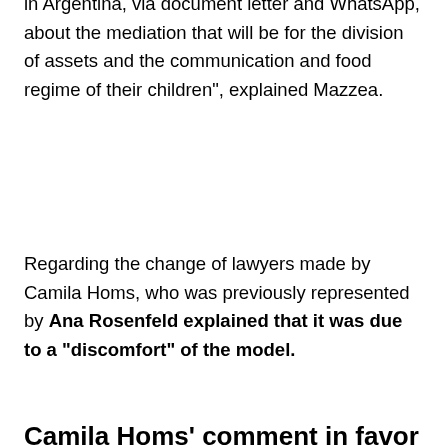in Argentina, via document letter and WhatsApp, about the mediation that will be for the division of assets and the communication and food regime of their children", explained Mazzea.
Regarding the change of lawyers made by Camila Homs, who was previously represented by Ana Rosenfeld explained that it was due to a “discomfort” of the model.
Camila Homs’ comment in favor of Tini Stoessel
For Camila Homs, the separation was not easy. After 12 years as a couple, Rodrigo dePaul He told her that he had fallen out of love and soon he appeared in her life Tini Stoessel who had the opportunity to meet him.
Time passed and the model is accepting that the father of her two